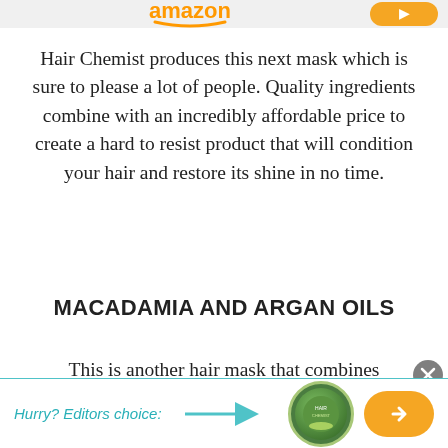[Figure (screenshot): Partial Amazon logo and orange button visible at top of page]
Hair Chemist produces this next mask which is sure to please a lot of people. Quality ingredients combine with an incredibly affordable price to create a hard to resist product that will condition your hair and restore its shine in no time.
MACADAMIA AND ARGAN OILS
This is another hair mask that combines macadamia and argan oil to provide a deeply hydrating mask that will condition and repair your hair with ease. These two oils are some of the
Hurry? Editors choice: